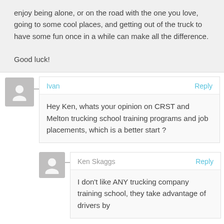enjoy being alone, or on the road with the one you love, going to some cool places, and getting out of the truck to have some fun once in a while can make all the difference.

Good luck!
Ivan
Reply
Hey Ken, whats your opinion on CRST and Melton trucking school training programs and job placements, which is a better start ?
Ken Skaggs
Reply
I don't like ANY trucking company training school, they take advantage of drivers by